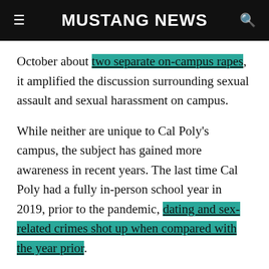MUSTANG NEWS
October about two separate on-campus rapes, it amplified the discussion surrounding sexual assault and sexual harassment on campus.
While neither are unique to Cal Poly's campus, the subject has gained more awareness in recent years. The last time Cal Poly had a fully in-person school year in 2019, prior to the pandemic, dating and sex-related crimes shot up when compared with the year prior.
Mustang News sent students a survey in November, asking about sexual assault, awareness of resources and opinions on university response.